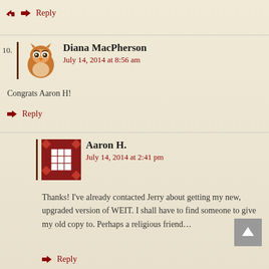↳ Reply
10. Diana MacPherson
July 14, 2014 at 8:56 am
Congrats Aaron H!
↳ Reply
Aaron H.
July 14, 2014 at 2:41 pm
Thanks! I've already contacted Jerry about getting my new, upgraded version of WEIT. I shall have to find someone to give my old copy to. Perhaps a religious friend…
↳ Reply